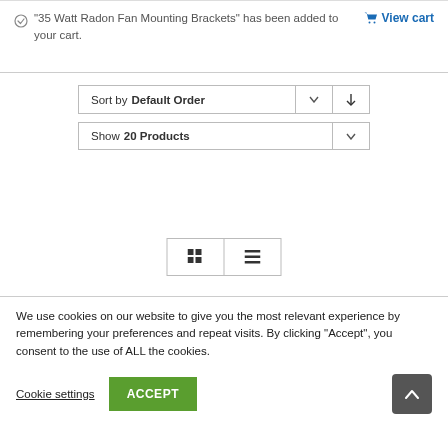"35 Watt Radon Fan Mounting Brackets" has been added to your cart. View cart
[Figure (screenshot): Sort by Default Order dropdown with chevron and sort direction button]
[Figure (screenshot): Show 20 Products dropdown with chevron]
[Figure (screenshot): Grid view and list view toggle buttons]
We use cookies on our website to give you the most relevant experience by remembering your preferences and repeat visits. By clicking "Accept", you consent to the use of ALL the cookies.
Cookie settings
ACCEPT